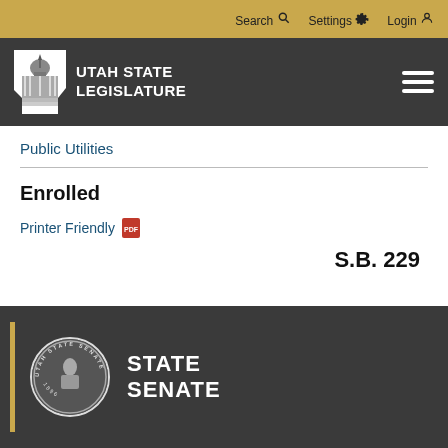Search  Settings  Login
[Figure (logo): Utah State Legislature logo with capitol building icon and text UTAH STATE LEGISLATURE]
Public Utilities
Enrolled
Printer Friendly
S.B. 229
[Figure (logo): Utah State Senate seal/emblem with text STATE SENATE and year 1896]